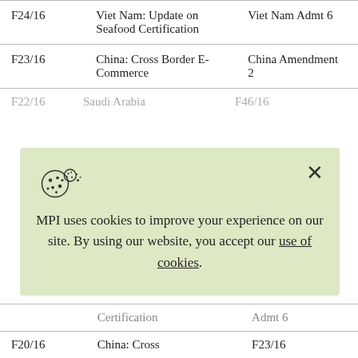| F24/16 | Viet Nam: Update on Seafood Certification | Viet Nam Admt 6 |
| F23/16 | China: Cross Border E-Commerce | China Amendment 2 |
| F22/16 | Saudi Arabia... | F46/16 |
[Figure (screenshot): Cookie consent overlay with cookie icon, close X button, and text: MPI uses cookies to improve your experience on our site. By using our website, you accept our use of cookies.]
|  | Certification | Admt 6 |
| F20/16 | China: Cross | F23/16 |